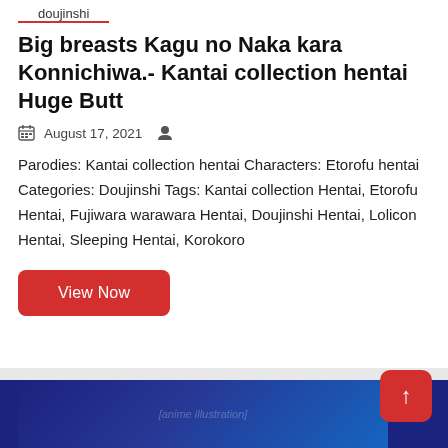doujinshi
Big breasts Kagu no Naka kara Konnichiwa.- Kantai collection hentai Huge Butt
August 17, 2021
Parodies: Kantai collection hentai Characters: Etorofu hentai Categories: Doujinshi Tags: Kantai collection Hentai, Etorofu Hentai, Fujiwara warawara Hentai, Doujinshi Hentai, Lolicon Hentai, Sleeping Hentai, Korokoro
View Now
[Figure (illustration): Anime/manga style illustration strip at the bottom showing characters with pink hair on a dark blue background with Japanese text]